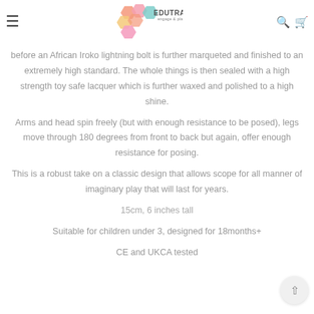EduTrayPlay engage & play
before an African Iroko lightning bolt is further marqueted and finished to an extremely high standard. The whole things is then sealed with a high strength toy safe lacquer which is further waxed and polished to a high shine.
Arms and head spin freely (but with enough resistance to be posed), legs move through 180 degrees from front to back but again, offer enough resistance for posing.
This is a robust take on a classic design that allows scope for all manner of imaginary play that will last for years.
15cm, 6 inches tall
Suitable for children under 3, designed for 18months+
CE and UKCA tested